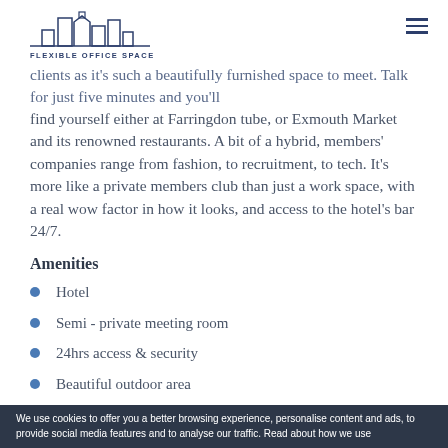FLEXIBLE OFFICE SPACE
clients as it's such a beautifully furnished space to meet. Talk for just five minutes and you'll find yourself either at Farringdon tube, or Exmouth Market and its renowned restaurants. A bit of a hybrid, members' companies range from fashion, to recruitment, to tech. It's more like a private members club than just a work space, with a real wow factor in how it looks, and access to the hotel's bar 24/7.
Amenities
Hotel
Semi - private meeting room
24hrs access & security
Beautiful outdoor area
Bean to cup coffee & tea selection
We use cookies to offer you a better browsing experience, personalise content and ads, to provide social media features and to analyse our traffic. Read about how we use